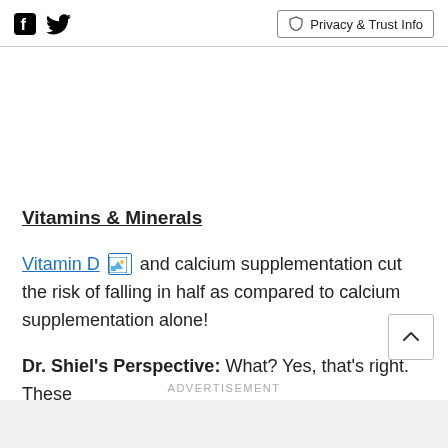Facebook Twitter | Privacy & Trust Info
Vitamins & Minerals
Vitamin D [image] and calcium supplementation cut the risk of falling in half as compared to calcium supplementation alone!
Dr. Shiel's Perspective: What? Yes, that's right. These
ADVERTISEMENT